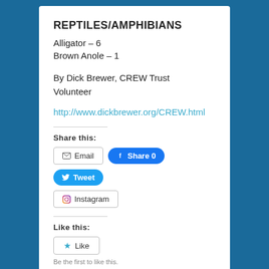REPTILES/AMPHIBIANS
Alligator – 6
Brown Anole – 1
By Dick Brewer, CREW Trust Volunteer
http://www.dickbrewer.org/CREW.html
Share this:
[Figure (other): Social share buttons: Email, Share 0 (Facebook), Tweet (Twitter), Instagram]
Like this:
[Figure (other): Like button with star icon]
Be the first to like this.